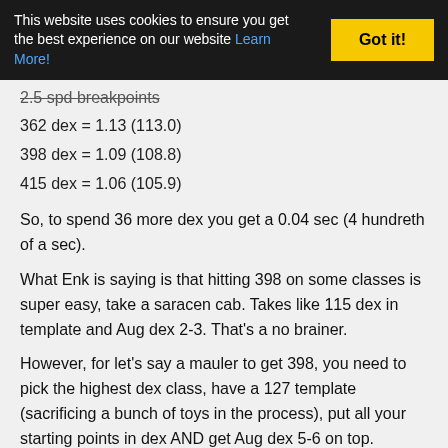This website uses cookies to ensure you get the best experience on our website Learn More! Got it!
2.5 spd breakpoints
362 dex = 1.13 (113.0)
398 dex = 1.09 (108.8)
415 dex = 1.06 (105.9)
So, to spend 36 more dex you get a 0.04 sec (4 hundreth of a sec).
What Enk is saying is that hitting 398 on some classes is super easy, take a saracen cab. Takes like 115 dex in template and Aug dex 2-3. That's a no brainer.
However, for let's say a mauler to get 398, you need to pick the highest dex class, have a 127 template (sacrificing a bunch of toys in the process), put all your starting points in dex AND get Aug dex 5-6 on top.
Do you think that investment is worth it for 0.04 sec off cast